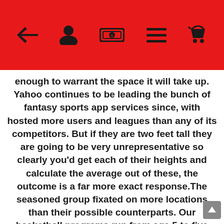[navigation bar with back arrow, user icon, wallet icon, menu icon, basket icon]
enough to warrant the space it will take up. Yahoo continues to be leading the bunch of fantasy sports app services since, with hosted more users and leagues than any of its competitors. But if they are two feet tall they are going to be very unrepresentative so clearly you'd get each of their heights and calculate the average out of these, the outcome is a far more exact response.The seasoned group fixated on more locations than their possible counterparts. Our basketball programs run from age 5 to five adults, but basketball players 18 and old may come to midnight basketball at our indoor courts. It is possible to add that the Sky Sports Premier League and Sky Sports Football channels for only 18 a month or select up the complete sports package for